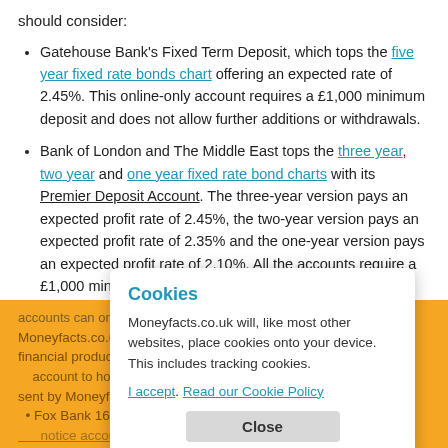should consider:
Gatehouse Bank's Fixed Term Deposit, which tops the five year fixed rate bonds chart offering an expected rate of 2.45%. This online-only account requires a £1,000 minimum deposit and does not allow further additions or withdrawals.
Bank of London and The Middle East tops the three year, two year and one year fixed rate bond charts with its Premier Deposit Account. The three-year version pays an expected profit rate of 2.45%, the two-year version pays an expected profit rate of 2.35% and the one-year version pays an expected profit rate of 2.10%. All the accounts require a £1,000 minimum deposit and do not allow further additions or withdrawals. The accounts can only be...
Moneyfacts.co.uk will need to process your details to send you this financial product. Any calls sent by Moneyfacts.co.uk will...
Fox Bank 160 Day Notice... notice account... account allows further additions while withdrawals are...
Cookies

Moneyfacts.co.uk will, like most other websites, place cookies onto your device. This includes tracking cookies.

I accept. Read our Cookie Policy

Close